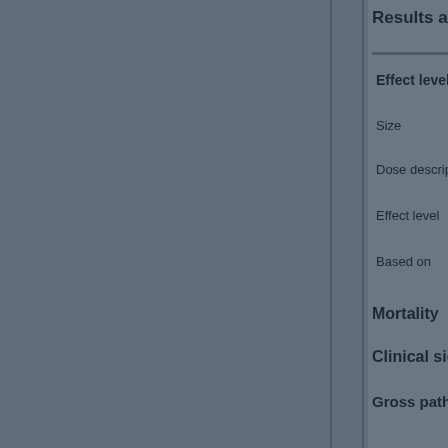Results and
Effect levels
Size
Dose description
Effect level
Based on
Mortality
Clinical signs
Gross pathology
Applicant's c
Interpretation of r